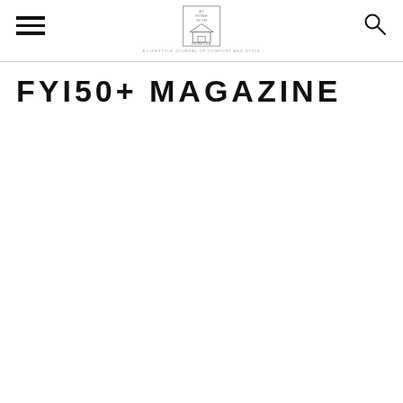AT HOME WITH REBECKA — A lifestyle journal of comfort and style
FYI50+ MAGAZINE